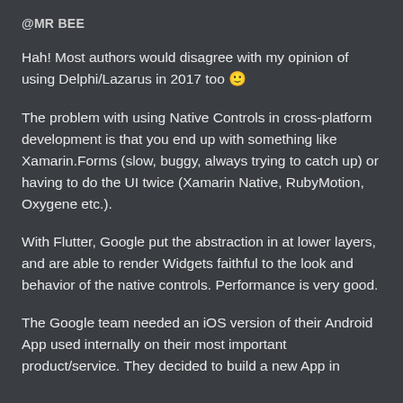@MR BEE
Hah! Most authors would disagree with my opinion of using Delphi/Lazarus in 2017 too 🙂
The problem with using Native Controls in cross-platform development is that you end up with something like Xamarin.Forms (slow, buggy, always trying to catch up) or having to do the UI twice (Xamarin Native, RubyMotion, Oxygene etc.).
With Flutter, Google put the abstraction in at lower layers, and are able to render Widgets faithful to the look and behavior of the native controls. Performance is very good.
The Google team needed an iOS version of their Android App used internally on their most important product/service. They decided to build a new App in